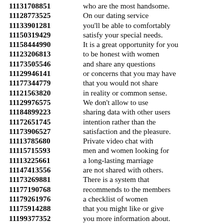11131708851 who are the most handsome.
11128773525 On our dating service
11133901281 you'll be able to comfortably
11150319429 satisfy your special needs.
11158444990 It is a great opportunity for you
11123206813 to be honest with women
11173505546 and share any questions
11129946141 or concerns that you may have
11177344779 that you would not share
11121563820 in reality or common sense.
11129976575 We don't allow to use
11184899223 sharing data with other users
11172651745 intention rather than the
11173906527 satisfaction and the pleasure.
11113785680 Private video chat with
11115715593 men and women looking for
11113225661 a long-lasting marriage
11147413556 are not shared with others.
11173269881 There is a system that
11177190768 recommends to the members
11179261976 a checklist of women
11175914288 that you might like or give
11199377352 you more information about.
11122628951 You have a sense of calm
11125682543 because you'll be speaking